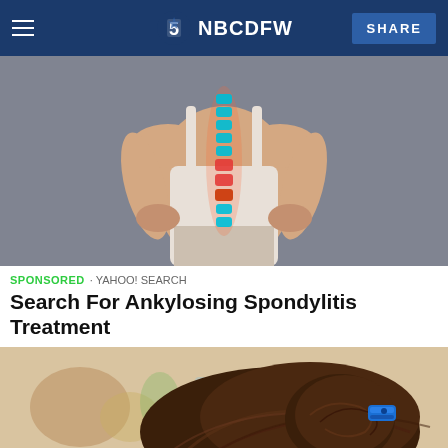NBC5 NBCDFW | SHARE
[Figure (photo): Woman from behind holding her lower back, with a medical illustration overlay showing a spine with highlighted vertebrae in teal and red indicating pain or inflammation]
SPONSORED · YAHOO! SEARCH
Search For Ankylosing Spondylitis Treatment
[Figure (photo): Close-up of a woman's dark brown hair pinned up with a blue hair clip, blurred background with plants and bottles]